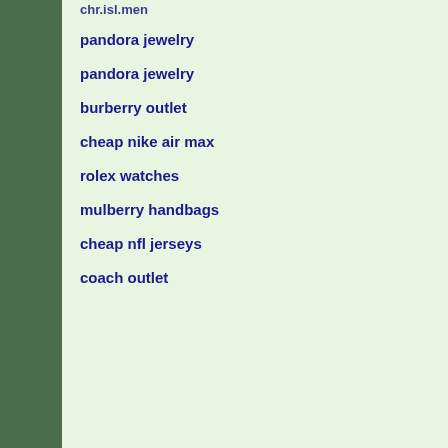chr.isl.men
pandora jewelry
pandora jewelry
burberry outlet
cheap nike air max
rolex watches
mulberry handbags
cheap nfl jerseys
coach outlet